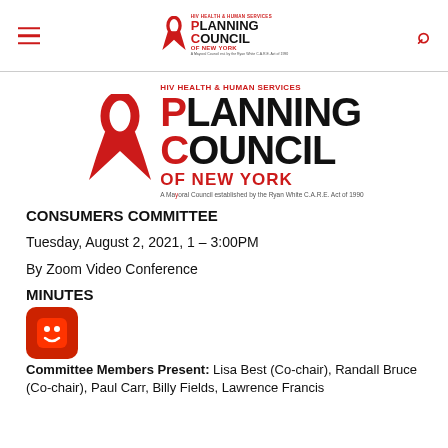HIV Health & Human Services Planning Council of New York
[Figure (logo): HIV Health & Human Services Planning Council of New York logo with red ribbon graphic, large bold PLANNING COUNCIL OF NEW YORK text, and tagline: A Mayoral Council established by the Ryan White C.A.R.E. Act of 1990]
CONSUMERS COMMITTEE
Tuesday, August 2, 2021, 1 – 3:00PM
By Zoom Video Conference
MINUTES
Committee Members Present: Lisa Best (Co-chair), Randall Bruce (Co-chair), Paul Carr, Billy Fields, Lawrence Francis